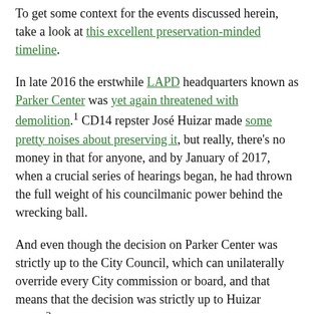To get some context for the events discussed herein, take a look at this excellent preservation-minded timeline.
In late 2016 the erstwhile LAPD headquarters known as Parker Center was yet again threatened with demolition.¹ CD14 repster José Huizar made some pretty noises about preserving it, but really, there's no money in that for anyone, and by January of 2017, when a crucial series of hearings began, he had thrown the full weight of his councilmanic power behind the wrecking ball.
And even though the decision on Parker Center was strictly up to the City Council, which can unilaterally override every City commission or board, and that means that the decision was strictly up to Huizar alone,² for whatever reason Huizar apparently was reluctant to tear the building down based on nothing more than his raw desire and power to do so.
It's hard to say why this was the case. Possibly because the